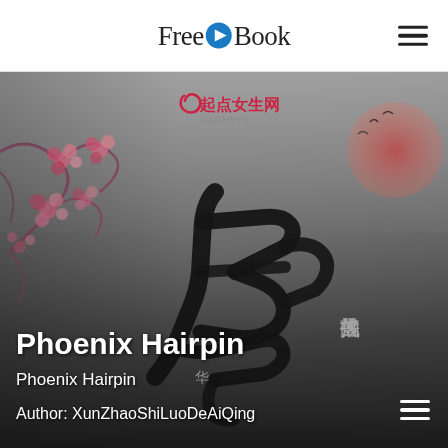FreeEBook
[Figure (illustration): Book cover for 'Phoenix Hairpin' featuring Chinese calligraphy characters, cherry blossoms on the left, a red sun and birds on the upper right, on a gradient grey and white background. Chinese publisher logo '起点女生网' at the top center. Large black calligraphy characters dominate the center. Smaller Chinese text '寻找失落的' on the right side.]
Phoenix Hairpin
Phoenix Hairpin
Author: XunZhaoShiLuoDeAiQing